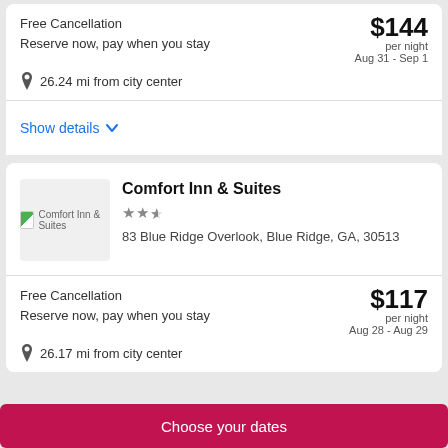Free Cancellation
Reserve now, pay when you stay
$144 per night
Aug 31 - Sep 1
26.24 mi from city center
Show details
Comfort Inn & Suites
83 Blue Ridge Overlook, Blue Ridge, GA, 30513
Free Cancellation
Reserve now, pay when you stay
$117 per night
Aug 28 - Aug 29
26.17 mi from city center
Choose your dates